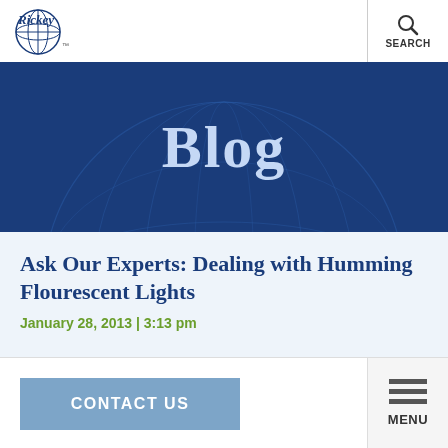Rickey [logo with globe] TM | SEARCH
[Figure (illustration): Blog banner with dark blue background, globe wireframe watermark, and large serif text reading 'Blog' in light blue]
Ask Our Experts: Dealing with Humming Flourescent Lights
January 28, 2013 | 3:13 pm
CONTACT US | MENU